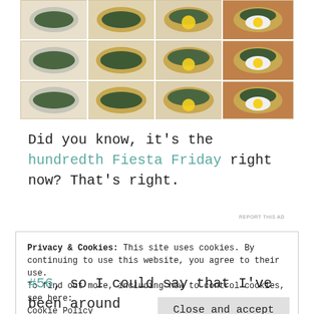[Figure (photo): Grid of 12 food photos showing bread/dough boats filled with spinach and eggs in various stages of preparation, arranged in a 4-column by 3-row collage]
Did you know, it's the hundredth Fiesta Friday right now? That's right.
REPORT THIS AD
Privacy & Cookies: This site uses cookies. By continuing to use this website, you agree to their use.
To find out more, including how to control cookies, see here:
Cookie Policy
Close and accept
#56, so I could say that I've been around